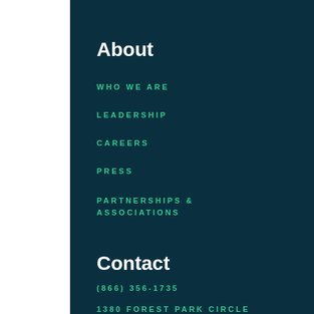About
WHO WE ARE
LEADERSHIP
CAREERS
PRESS
PARTNERSHIPS & ASSOCIATIONS
Contact
(866) 356-1735
1380 FOREST PARK CIRCLE